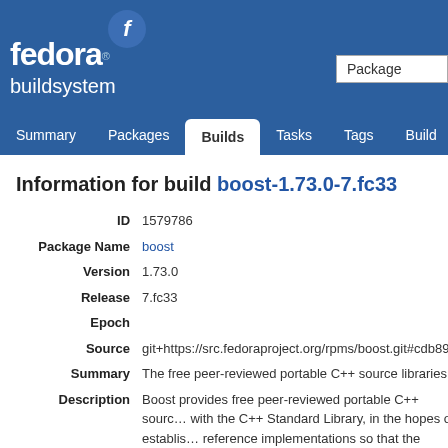fedora buildsystem
Information for build boost-1.73.0-7.fc33
| Field | Value |
| --- | --- |
| ID | 1579786 |
| Package Name | boost |
| Version | 1.73.0 |
| Release | 7.fc33 |
| Epoch |  |
| Source | git+https://src.fedoraproject.org/rpms/boost.git#cdb89c |
| Summary | The free peer-reviewed portable C++ source libraries |
| Description | Boost provides free peer-reviewed portable C++ source libraries, working with the C++ Standard Library, in the hopes of establishing existing practice and reference implementations so that the Boost libraries are suitable for eventual standardization. Boost libraries have already been included in the C++ 2011 standard and several more have been accepted by the C++ Standards Committee for inclusion in future standards. |
| Built by | decathorpe |